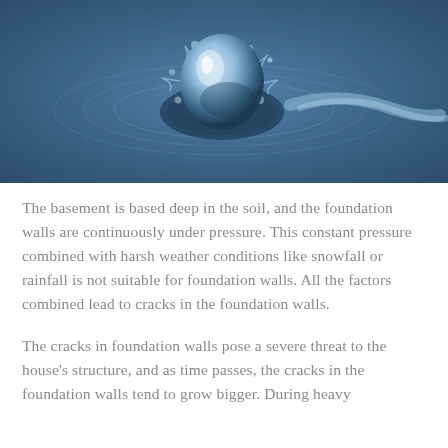[Figure (photo): Close-up macro photograph of a water droplet impact creating a crown splash against a blue background, with ripples radiating outward.]
The basement is based deep in the soil, and the foundation walls are continuously under pressure. This constant pressure combined with harsh weather conditions like snowfall or rainfall is not suitable for foundation walls. All the factors combined lead to cracks in the foundation walls.
The cracks in foundation walls pose a severe threat to the house's structure, and as time passes, the cracks in the foundation walls tend to grow bigger. During heavy